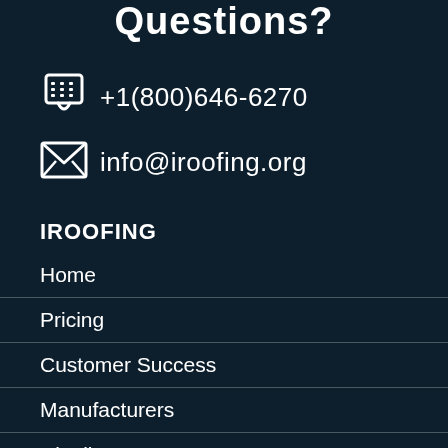Questions?
+1(800)646-6270
info@iroofing.org
IROOFING
Home
Pricing
Customer Success
Manufacturers
Distributors